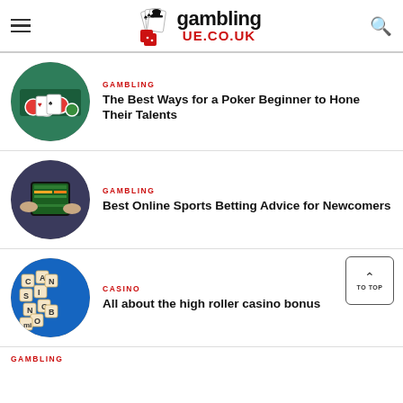[Figure (logo): GamblingUE.co.uk website header with hamburger menu, logo with playing cards and red dice, and search icon]
GAMBLING
The Best Ways for a Poker Beginner to Hone Their Talents
GAMBLING
Best Online Sports Betting Advice for Newcomers
CASINO
All about the high roller casino bonus
GAMBLING